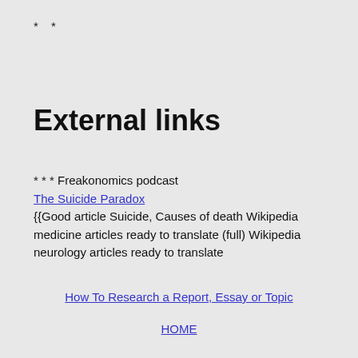* *
External links
* * * Freakonomics podcast The Suicide Paradox {{Good article Suicide, Causes of death Wikipedia medicine articles ready to translate (full) Wikipedia neurology articles ready to translate
How To Research a Report, Essay or Topic
HOME